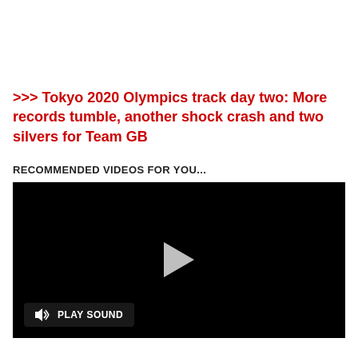>>> Tokyo 2020 Olympics track day two: More records tumble, another shock crash and two silvers for Team GB
RECOMMENDED VIDEOS FOR YOU...
[Figure (screenshot): Black video player with a play button in the center and a 'PLAY SOUND' button with speaker icon in the bottom left corner]